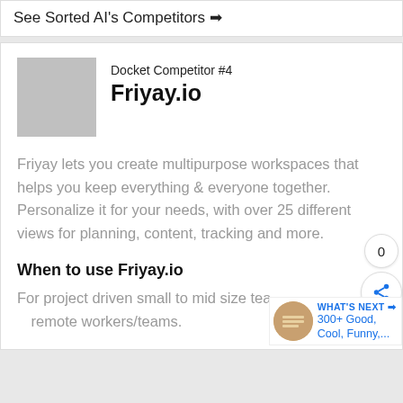See Sorted AI's Competitors →
Docket Competitor #4
Friyay.io
Friyay lets you create multipurpose workspaces that helps you keep everything & everyone together. Personalize it for your needs, with over 25 different views for planning, content, tracking and more.
When to use Friyay.io
For project driven small to mid size teams & remote workers/teams.